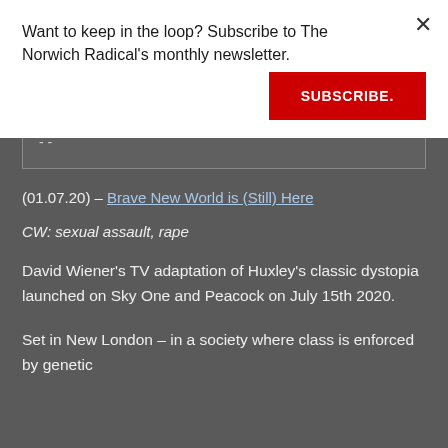drops back to all fours and resumes its frenzied drooling and chewing. The video ends with a freeze frame of that moment of eye contact: that intense, fixated stare.
- -
(01.07.20) – Brave New World is (Still) Here
CW: sexual assault, rape
David Wiener's TV adaptation of Huxley's classic dystopia launched on Sky One and Peacock on July 15th 2020.
Set in New London – in a society where class is enforced by genetic
Want to keep in the loop? Subscribe to The Norwich Radical's monthly newsletter.
SUBSCRIBE.